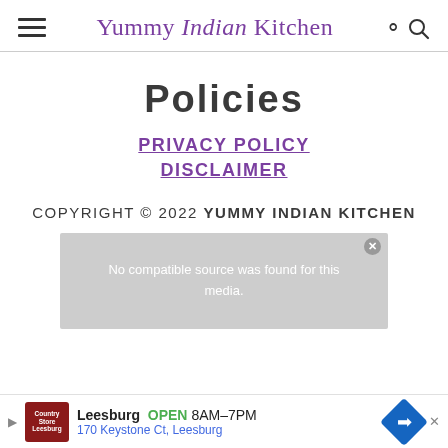Yummy Indian Kitchen
Policies
PRIVACY POLICY
DISCLAIMER
COPYRIGHT © 2022 YUMMY INDIAN KITCHEN
[Figure (screenshot): Video overlay with message: No compatible source was found for this media.]
Leesburg OPEN 8AM–7PM 170 Keystone Ct, Leesburg